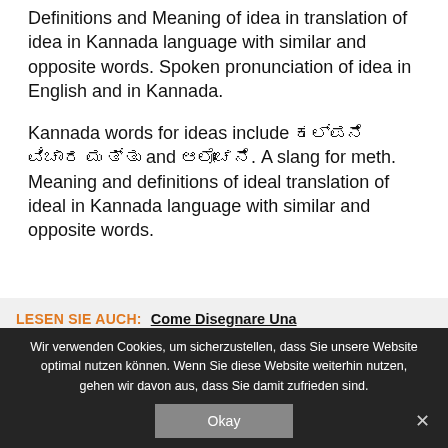Definitions and Meaning of idea in translation of idea in Kannada language with similar and opposite words. Spoken pronunciation of idea in English and in Kannada.
Kannada words for ideas include ಕಲ್ಪನೆ ವಿಚಾರ and ಆಲೋಚನೆ. A slang for meth. Meaning and definitions of ideal translation of ideal in Kannada language with similar and opposite words.
LESEN SIE AUCH:  Come Disegnare Una
Wir verwenden Cookies, um sicherzustellen, dass Sie unsere Website optimal nutzen können. Wenn Sie diese Website weiterhin nutzen, gehen wir davon aus, dass Sie damit zufrieden sind.
Okay